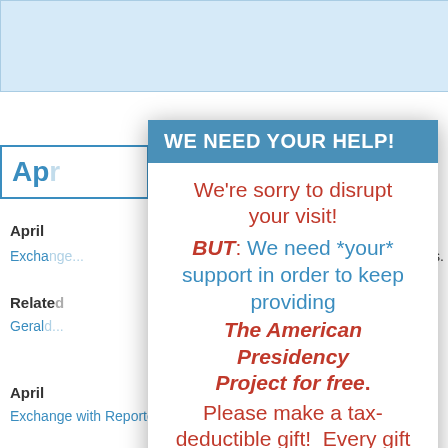[Figure (screenshot): Background webpage showing American Presidency Project with blue banner, navigation, April entries with blue links, Related sections, and Gerald R. Ford references]
We need your help!
We're sorry to disrupt your visit! BUT: We need *your* support in order to keep providing The American Presidency Project for free. Please make a tax-deductible gift! Every gift